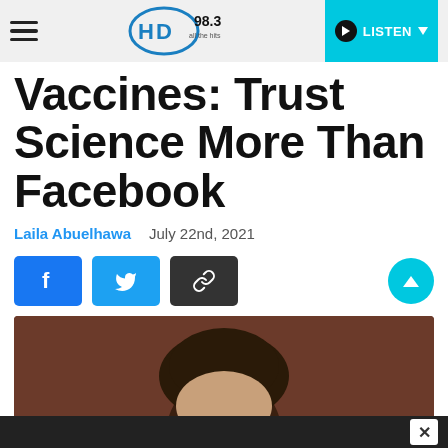HD 98.3 — LISTEN
Vaccines: Trust Science More Than Facebook
Laila Abuelhawa    July 22nd, 2021
[Figure (screenshot): Social share buttons: Facebook (blue), Twitter (light blue), link/chain (dark), and a cyan scroll-to-top button on the right]
[Figure (photo): Partial photo of a person's head with brown/dark hair against a brown background]
X (close button)